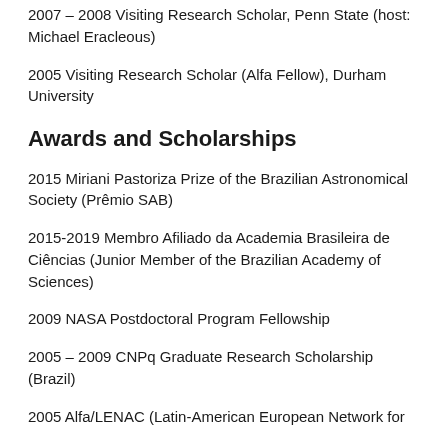2007 – 2008 Visiting Research Scholar, Penn State (host: Michael Eracleous)
2005 Visiting Research Scholar (Alfa Fellow), Durham University
Awards and Scholarships
2015 Miriani Pastoriza Prize of the Brazilian Astronomical Society (Prêmio SAB)
2015-2019 Membro Afiliado da Academia Brasileira de Ciências (Junior Member of the Brazilian Academy of Sciences)
2009 NASA Postdoctoral Program Fellowship
2005 – 2009 CNPq Graduate Research Scholarship (Brazil)
2005 Alfa/LENAC (Latin-American European Network for